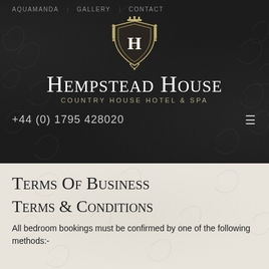AQUAMANDA | GALLERY | CONTACT
[Figure (logo): Hempstead House crest logo with ornate shield featuring letter H and crown]
Hempstead House
COUNTRY HOUSE HOTEL & SPA
+44 (0) 1795 428020
Terms Of Business
Terms & Conditions
All bedroom bookings must be confirmed by one of the following methods:-